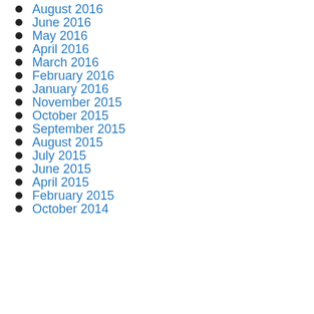August 2016
June 2016
May 2016
April 2016
March 2016
February 2016
January 2016
November 2015
October 2015
September 2015
August 2015
July 2015
June 2015
April 2015
February 2015
October 2014